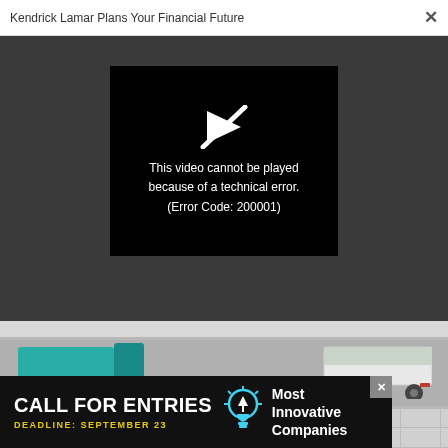Kendrick Lamar Plans Your Financial Future   ×
[Figure (screenshot): Video player showing an error message on black background with a crossed-out play icon. Text reads: This video cannot be played because of a technical error. (Error Code: 200001)]
[Figure (photo): Aerial view of two trucks on a road — a teal/green truck on the left and a white/light grey truck on the right, seen from above on a grey road surface with grid-patterned ground below.]
[Figure (infographic): Advertisement banner: CALL FOR ENTRIES / DEADLINE: SEPTEMBER 23 / light bulb icon / Most Innovative Companies]